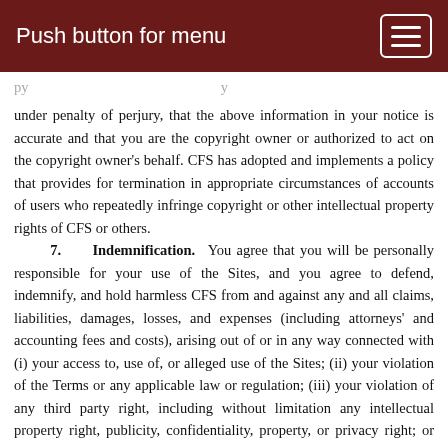Push button for menu
under penalty of perjury, that the above information in your notice is accurate and that you are the copyright owner or authorized to act on the copyright owner's behalf. CFS has adopted and implements a policy that provides for termination in appropriate circumstances of accounts of users who repeatedly infringe copyright or other intellectual property rights of CFS or others.
7. Indemnification. You agree that you will be personally responsible for your use of the Sites, and you agree to defend, indemnify, and hold harmless CFS from and against any and all claims, liabilities, damages, losses, and expenses (including attorneys' and accounting fees and costs), arising out of or in any way connected with (i) your access to, use of, or alleged use of the Sites; (ii) your violation of the Terms or any applicable law or regulation; (iii) your violation of any third party right, including without limitation any intellectual property right, publicity, confidentiality, property, or privacy right; or (iv) any disputes or issues between you and any third party. CFS reserves the right, at our own expense, to assume the exclusive defense and control of any matter otherwise subject to indemnification by you, and in such case, you agree to